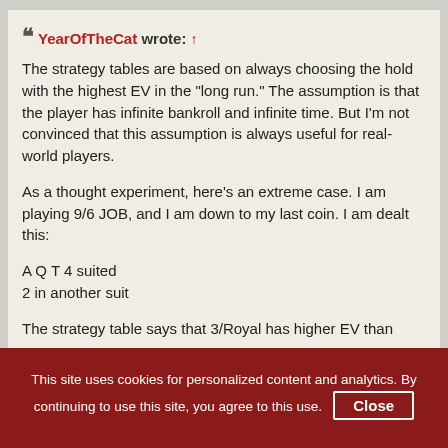YearOfTheCat wrote: ↑ The strategy tables are based on always choosing the hold with the highest EV in the "long run." The assumption is that the player has infinite bankroll and infinite time. But I'm not convinced that this assumption is always useful for real-world players.

As a thought experiment, here's an extreme case. I am playing 9/6 JOB, and I am down to my last coin. I am dealt this:

A Q T 4 suited
2 in another suit

The strategy table says that 3/Royal has higher EV than
This site uses cookies for personalized content and analytics. By continuing to use this site, you agree to this use. Close